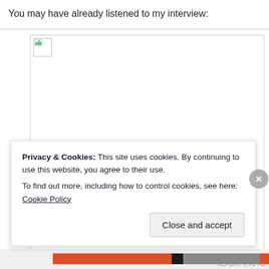You may have already listened to my interview:
[Figure (photo): Broken image placeholder with small icon in top-left corner, white background with border]
Privacy & Cookies: This site uses cookies. By continuing to use this website, you agree to their use.
To find out more, including how to control cookies, see here: Cookie Policy
Close and accept
REPORT THIS AD